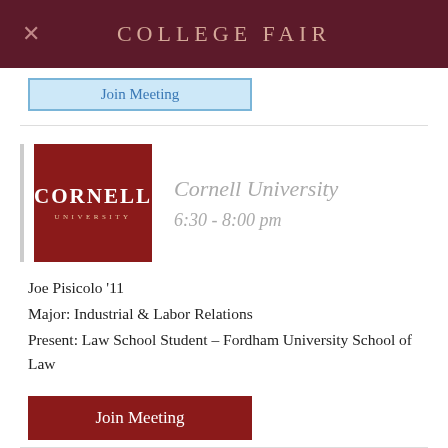COLLEGE FAIR
[Figure (screenshot): Partially visible 'Join Meeting' button from a prior listing, light blue background with blue border]
[Figure (logo): Cornell University logo: red square background with white CORNELL text and UNIVERSITY below in small caps]
Cornell University
6:30 - 8:00 pm
Joe Pisicolo '11
Major: Industrial & Labor Relations
Present: Law School Student – Fordham University School of Law
Join Meeting